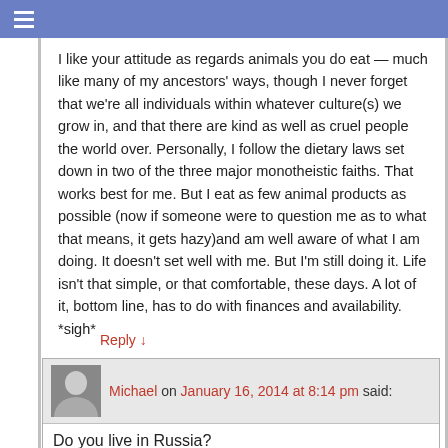☰
I like your attitude as regards animals you do eat — much like many of my ancestors' ways, though I never forget that we're all individuals within whatever culture(s) we grow in, and that there are kind as well as cruel people the world over. Personally, I follow the dietary laws set down in two of the three major monotheistic faiths. That works best for me. But I eat as few animal products as possible (now if someone were to question me as to what that means, it gets hazy)and am well aware of what I am doing. It doesn't set well with me. But I'm still doing it. Life isn't that simple, or that comfortable, these days. A lot of it, bottom line, has to do with finances and availability. *sigh*
Reply ↓
Michael on January 16, 2014 at 8:14 pm said:
Do you live in Russia?